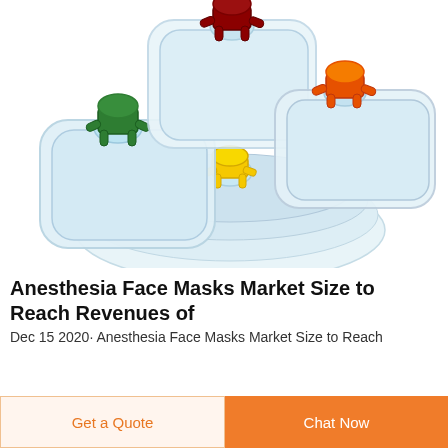[Figure (photo): Multiple anesthesia face masks of different sizes arranged together, with colored connectors in red, green, yellow, and orange on transparent silicone masks]
Anesthesia Face Masks Market Size to Reach Revenues of
Dec 15 2020· Anesthesia Face Masks Market Size to Reach